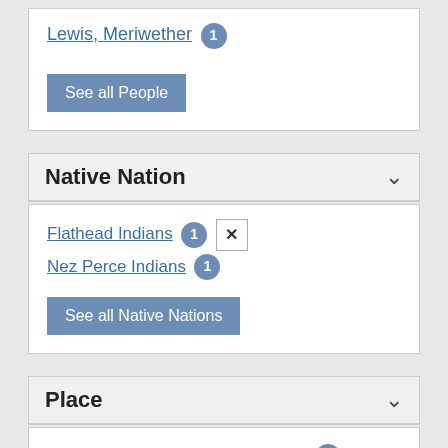Lewis, Meriwether 1
See all People
Native Nation
Flathead Indians 1 [x]
Nez Perce Indians 1
See all Native Nations
Place
Blackfoot (East Fork Clark's) River 1
Clark Fork (Clark's, East Fork Clark's, Flathead) River 1 [x]
Missoula County, Mont. 1